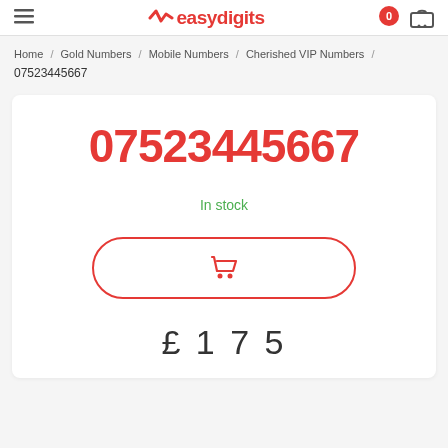easydigits
Home / Gold Numbers / Mobile Numbers / Cherished VIP Numbers / 07523445667
07523445667
In stock
£175